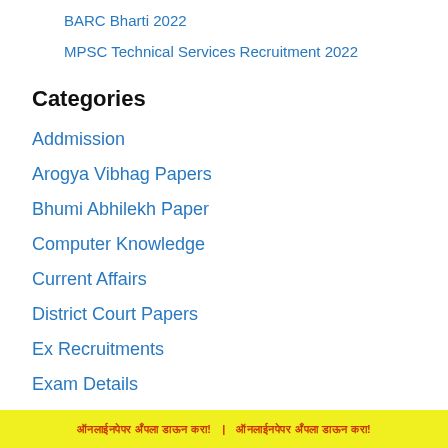BARC Bharti 2022
MPSC Technical Services Recruitment 2022
Categories
Addmission
Arogya Vibhag Papers
Bhumi Abhilekh Paper
Computer Knowledge
Current Affairs
District Court Papers
Ex Recruitments
Exam Details
General Awareness
ऑनलाईनपेपर अँपला डाऊन करा! | ऑनलाईनपेपर अँपला डाऊन करा!